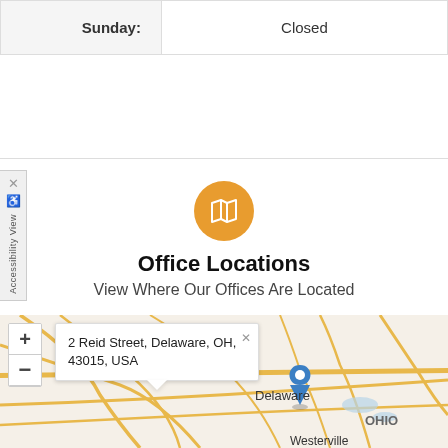| Sunday: | Closed |
Office Locations
View Where Our Offices Are Located
[Figure (map): Interactive map showing office location at 2 Reid Street, Delaware, OH, 43015, USA. Map displays Delaware, Ohio area with highway 71 visible. OHIO label shown. Westerville label partially visible at bottom. Blue location pin marker on Delaware. Popup tooltip showing address: 2 Reid Street, Delaware, OH, 43015, USA.]